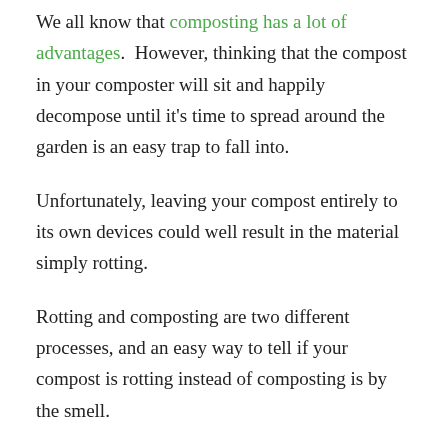We all know that composting has a lot of advantages.  However, thinking that the compost in your composter will sit and happily decompose until it's time to spread around the garden is an easy trap to fall into.
Unfortunately, leaving your compost entirely to its own devices could well result in the material simply rotting.
Rotting and composting are two different processes, and an easy way to tell if your compost is rotting instead of composting is by the smell.